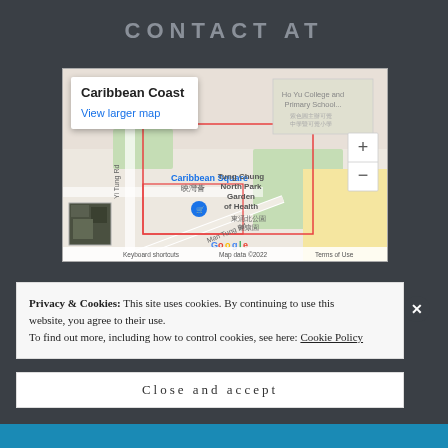CONTACT AT
[Figure (map): Google Maps showing Caribbean Coast / Caribbean Square area in Tung Chung, Hong Kong. Shows Ho Yu College and Primary School, Tung Chung North Park Garden of Health, Man Tung Rd, Yi Tung Rd. Popup label reads 'Caribbean Coast' with 'View larger map' link. Map data ©2022.]
Privacy & Cookies: This site uses cookies. By continuing to use this website, you agree to their use.
To find out more, including how to control cookies, see here: Cookie Policy
Close and accept